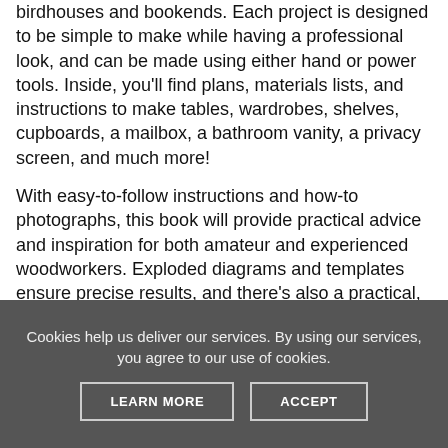birdhouses and bookends. Each project is designed to be simple to make while having a professional look, and can be made using either hand or power tools. Inside, you'll find plans, materials lists, and instructions to make tables, wardrobes, shelves, cupboards, a mailbox, a bathroom vanity, a privacy screen, and much more!
With easy-to-follow instructions and how-to photographs, this book will provide practical advice and inspiration for both amateur and experienced woodworkers. Exploded diagrams and templates ensure precise results, and there's also a practical, illustrated reference section on tools, techniques, and wood choices.
This book is intended for both the novice and those who have some basic skills and want to improve the scope and
Cookies help us deliver our services. By using our services, you agree to our use of cookies.